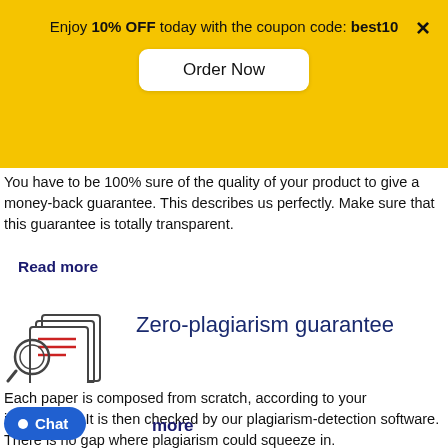Enjoy 10% OFF today with the coupon code: best10
[Figure (other): Order Now button on yellow banner]
You have to be 100% sure of the quality of your product to give a money-back guarantee. This describes us perfectly. Make sure that this guarantee is totally transparent.
Read more
[Figure (illustration): Icon of documents with a magnifying glass and red lines, representing plagiarism check]
Zero-plagiarism guarantee
Each paper is composed from scratch, according to your instructions. It is then checked by our plagiarism-detection software. There is no gap where plagiarism could squeeze in.
Chat
more